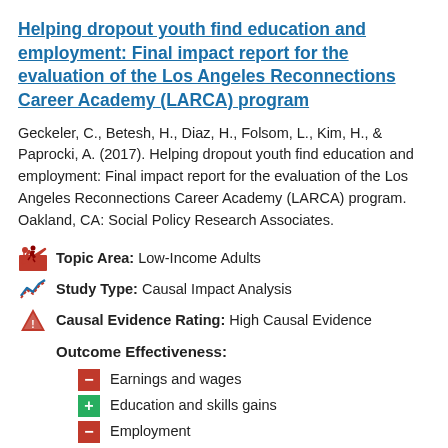Helping dropout youth find education and employment: Final impact report for the evaluation of the Los Angeles Reconnections Career Academy (LARCA) program
Geckeler, C., Betesh, H., Diaz, H., Folsom, L., Kim, H., & Paprocki, A. (2017). Helping dropout youth find education and employment: Final impact report for the evaluation of the Los Angeles Reconnections Career Academy (LARCA) program. Oakland, CA: Social Policy Research Associates.
Topic Area: Low-Income Adults
Study Type: Causal Impact Analysis
Causal Evidence Rating: High Causal Evidence
Outcome Effectiveness:
Earnings and wages
Education and skills gains
Employment